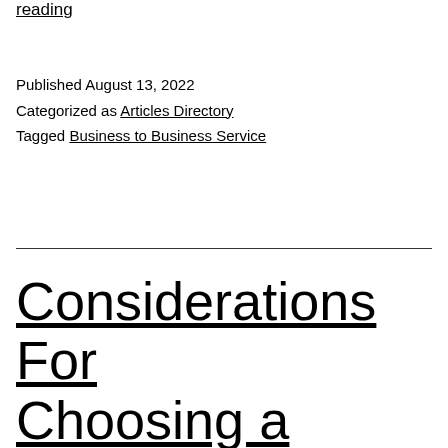reading
Published August 13, 2022
Categorized as Articles Directory
Tagged Business to Business Service
Considerations For Choosing a Beauty Salon